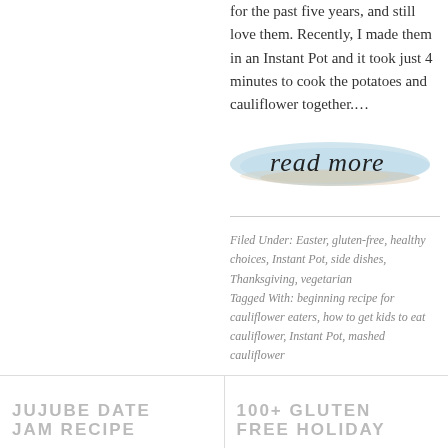for the past five years, and still love them. Recently, I made them in an Instant Pot and it took just 4 minutes to cook the potatoes and cauliflower together....
[Figure (illustration): A watercolor-style brushstroke button in light blue and tan with cursive text 'read more']
Filed Under: Easter, gluten-free, healthy choices, Instant Pot, side dishes, Thanksgiving, vegetarian
Tagged With: beginning recipe for cauliflower eaters, how to get kids to eat cauliflower, Instant Pot, mashed cauliflower
JUJUBE DATE JAM RECIPE   100+ GLUTEN FREE HOLIDAY